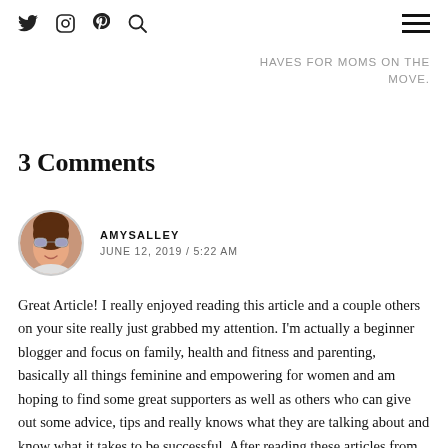Twitter, Instagram, Pinterest, Search icons | Hamburger menu
HAVES FOR MOMS ON THE MOVE.
3 Comments
AMYSALLEY
JUNE 12, 2019 / 5:22 AM
Great Article! I really enjoyed reading this article and a couple others on your site really just grabbed my attention. I'm actually a beginner blogger and focus on family, health and fitness and parenting, basically all things feminine and empowering for women and am hoping to find some great supporters as well as others who can give out some advice, tips and really knows what they are talking about and know what it takes to be successful. After reading these articles from your site, I had to ask if you would consider being a supporter and folloer of my blog AmysAlley and a valuable